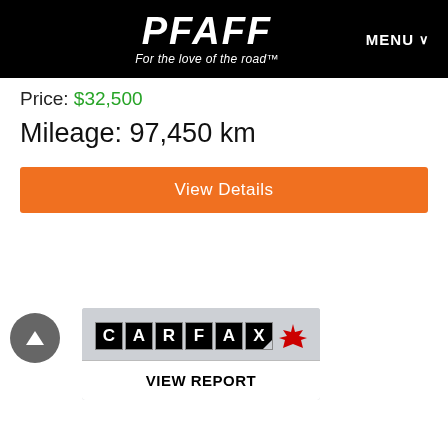PFAFF - For the love of the road™ | MENU
Price: $32,500
Mileage: 97,450 km
View Details
[Figure (logo): CARFAX Canada logo with maple leaf and VIEW REPORT button]
| Property | Value |
| --- | --- |
| Body Style: | SUV |
| Engine: | N/A |
| Exterior Colour: | White |
| Transmission: | Automatic |
| Drivetrain: | Other |
| Stock #: | P18695A |